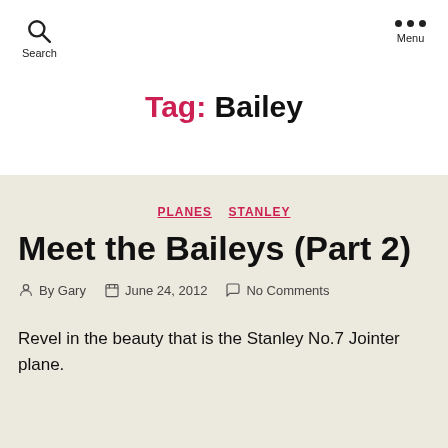Search   Menu
Tag: Bailey
PLANES  STANLEY
Meet the Baileys (Part 2)
By Gary   June 24, 2012   No Comments
Revel in the beauty that is the Stanley No.7 Jointer plane.